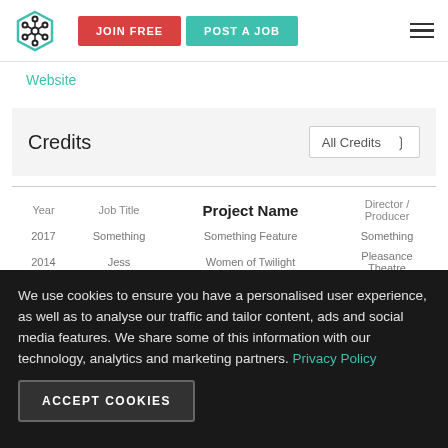[Figure (logo): Mandy.com hexagonal logo with connecting nodes]
JOIN FREE
POST A JOB
Website
Credits
All Credits
| Year | Job Title | Project Name | Director / Producer |
| --- | --- | --- | --- |
| 2017 | Something | Something Feature | Something |
| 2014 | Jess | Women of Twilight | Pleasance Theatre |
We use cookies to ensure you have a personalised user experience, as well as to analyse our traffic and tailor content, ads and social media features. We share some of this information with our technology, analytics and marketing partners. Privacy Policy
ACCEPT COOKIES